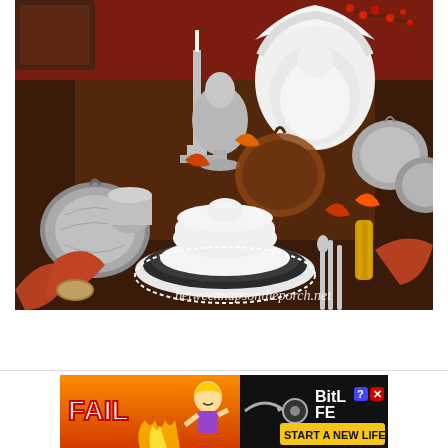[Figure (photo): A decorated Thanksgiving dining table with silver and metallic pumpkins, candlesticks, a white turkey tureen on stacked plates with rust-colored napkins, fall leaves, berries, and corn decorations. Watermark reads 'betweennapsontheporch.net'.]
[Figure (screenshot): Advertisement banner for BitLife mobile game. Shows 'FAIL' text in white, animated character, fire graphics, BitLife logo with question mark and X icons, and text 'START A NEW LIFE' on black background.]